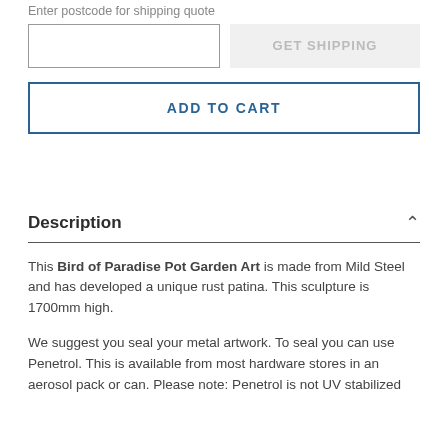Enter postcode for shipping quote
GET SHIPPING
ADD TO CART
Description
This Bird of Paradise Pot Garden Art is made from Mild Steel and has developed a unique rust patina. This sculpture is 1700mm high.
We suggest you seal your metal artwork. To seal you can use Penetrol. This is available from most hardware stores in an aerosol pack or can. Please note: Penetrol is not UV stabilized